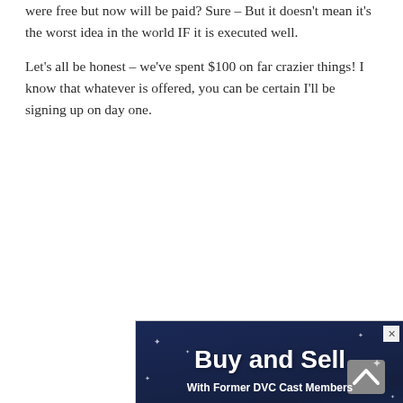were free but now will be paid? Sure – But it doesn't mean it's the worst idea in the world IF it is executed well.
Let's all be honest – we've spent $100 on far crazier things! I know that whatever is offered, you can be certain I'll be signing up on day one.
[Figure (infographic): Advertisement for DVC Resale Market showing 'Buy and Sell With Former DVC Cast Members' with a 'Discover DVC Resale Market' button, a building/resort background, and the DVC Resale Market logo with a palm tree icon.]